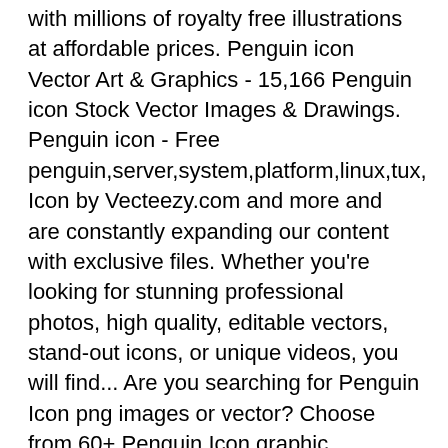with millions of royalty free illustrations at affordable prices. Penguin icon Vector Art & Graphics - 15,166 Penguin icon Stock Vector Images & Drawings. Penguin icon - Free penguin,server,system,platform,linux,tux, Icon by Vecteezy.com and more and are constantly expanding our content with exclusive files. Whether you're looking for stunning professional photos, high quality, editable vectors, stand-out icons, or unique videos, you will find... Are you searching for Penguin Icon png images or vector? Choose from 60+ Penguin Icon graphic resources and download in the form of PNG, EPS, AI or PSD. Download this Premium Vector about Penguin icon. penguin symbol design from animals collection.logo inspiration, and discover more than 20 Million Professional Graphic Resources on Freepik. Nokia Objects Icons Office Other Other Brands Phones Icons Popular RSS Feeds Smartphones Soccer Social Bookmarks Sony Sport Icons Statistics Transport Valentine's Day Vehicles Icons World Flags. Search icons & icon packs Search Icons Search icon packs. Home » Free